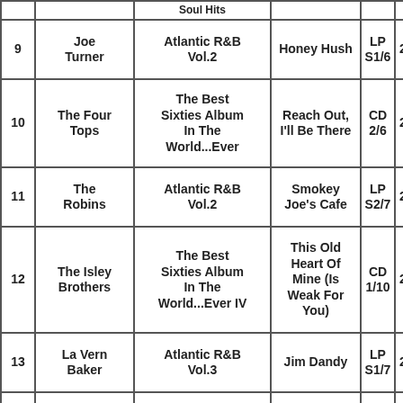| # | Artist | Album | Song | Ref | Duration |
| --- | --- | --- | --- | --- | --- |
|  |  | Soul Hits |  |  |  |
| 9 | Joe Turner | Atlantic R&B Vol.2 | Honey Hush | LP S1/6 | 2:38 |
| 10 | The Four Tops | The Best Sixties Album In The World...Ever | Reach Out, I'll Be There | CD 2/6 | 2:58 |
| 11 | The Robins | Atlantic R&B Vol.2 | Smokey Joe's Cafe | LP S2/7 | 2:44 |
| 12 | The Isley Brothers | The Best Sixties Album In The World...Ever IV | This Old Heart Of Mine (Is Weak For You) | CD 1/10 | 2:51 |
| 13 | La Vern Baker | Atlantic R&B Vol.3 | Jim Dandy | LP S1/7 | 2:11 |
| 14 | Aretha Franklin | The Best Sixties Album In The World...Ever II | Respect | CD 2/12 | 2:22 |
|  |  |  |  |  |  |